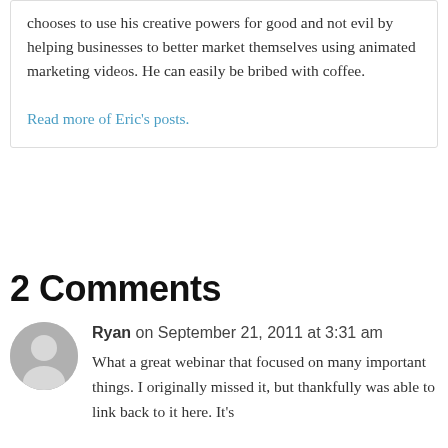chooses to use his creative powers for good and not evil by helping businesses to better market themselves using animated marketing videos. He can easily be bribed with coffee.
Read more of Eric's posts.
2 Comments
Ryan on September 21, 2011 at 3:31 am
What a great webinar that focused on many important things. I originally missed it, but thankfully was able to link back to it here. It's